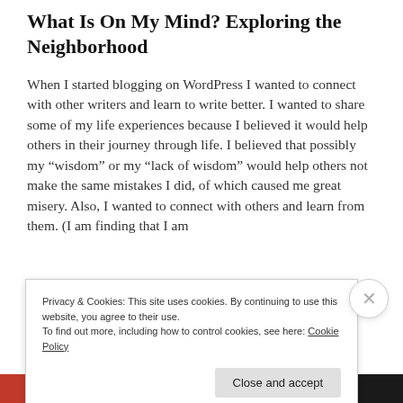What Is On My Mind? Exploring the Neighborhood
When I started blogging on WordPress I wanted to connect with other writers and learn to write better. I wanted to share some of my life experiences because I believed it would help others in their journey through life. I believed that possibly my “wisdom” or my “lack of wisdom” would help others not make the same mistakes I did, of which caused me great misery. Also, I wanted to connect with others and learn from them. (I am finding that I am
Privacy & Cookies: This site uses cookies. By continuing to use this website, you agree to their use.
To find out more, including how to control cookies, see here: Cookie Policy
Close and accept